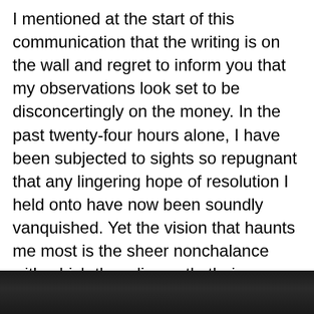I mentioned at the start of this communication that the writing is on the wall and regret to inform you that my observations look set to be disconcertingly on the money. In the past twenty-four hours alone, I have been subjected to sights so repugnant that any lingering hope of resolution I held onto have now been soundly vanquished. Yet the vision that haunts me most is the sheer nonchalance with which they dismantle their prey. But this is more than simply indifference, it’s pure recreation all the bloody way.
[Figure (photo): Dark photograph visible at the bottom of the page, showing a dark scene with dark tones.]